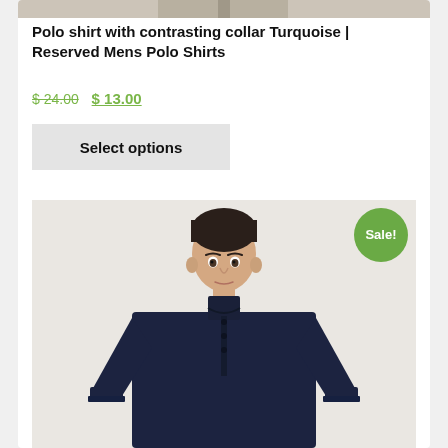[Figure (photo): Top partial image of a model wearing pants, cropped to show only the lower torso/legs area on a light background]
Polo shirt with contrasting collar Turquoise | Reserved Mens Polo Shirts
$ 24.00 $ 13.00
Select options
[Figure (photo): Male model wearing a dark navy polo shirt with a mandarin/band collar and small button placket, photographed against a light grey background. A green 'Sale!' badge is overlaid in the top-right corner of the image.]